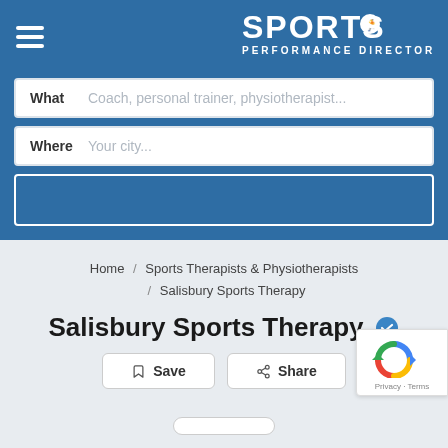[Figure (logo): Sports Performance Directory logo with running figure icon, white text on blue background]
What   Coach, personal trainer, physiotherapist...
Where   Your city...
Home / Sports Therapists & Physiotherapists / Salisbury Sports Therapy
Salisbury Sports Therapy
Save   Share